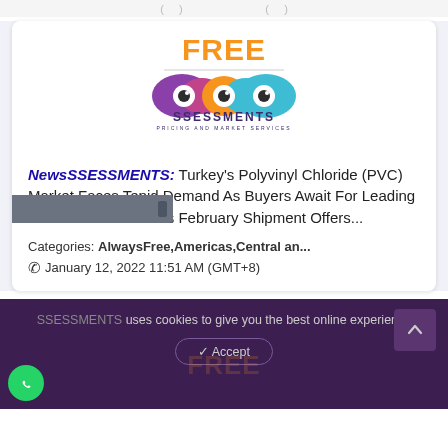( ) ( )
[Figure (logo): SSESSMENTS Pricing and Market Services logo with infinity symbol containing eyes, colored in purple, pink, orange, and blue. FREE label above in orange.]
NewsSSSESSMENTS: Turkey's Polyvinyl Chloride (PVC) Market Faces Tepid Demand As Buyers Await For Leading Taiwanese Producer's February Shipment Offers...
Categories: AlwaysFree,Americas,Central an...
January 12, 2022 11:51 AM (GMT+8)
SSESSMENTS uses cookies to give you the best online experience